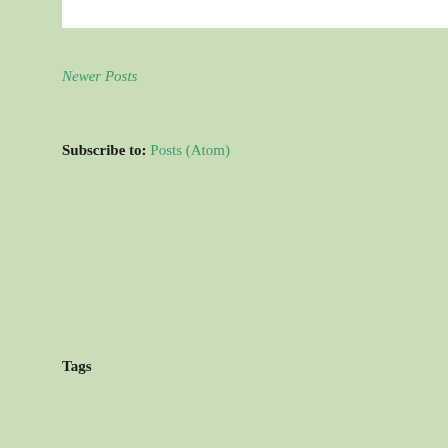Newer Posts
Subscribe to: Posts (Atom)
Tags